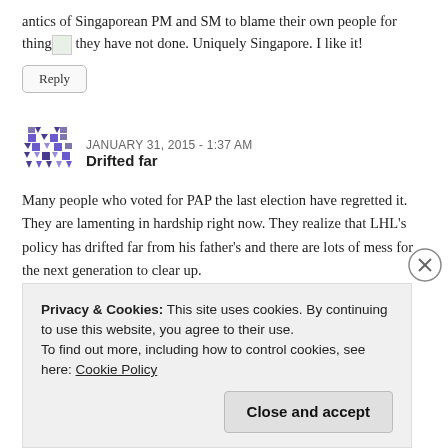antics of Singaporean PM and SM to blame their own people for thing[image] they have not done. Uniquely Singapore. I like it!
Reply
[Figure (other): User avatar icon with geometric pattern in purple/dark blue]
JANUARY 31, 2015 - 1:37 AM
Drifted far
Many people who voted for PAP the last election have regretted it. They are lamenting in hardship right now. They realize that LHL's policy has drifted far from his father's and there are lots of mess for the next generation to clear up.
Reply
Privacy & Cookies: This site uses cookies. By continuing to use this website, you agree to their use.
To find out more, including how to control cookies, see here: Cookie Policy
Close and accept